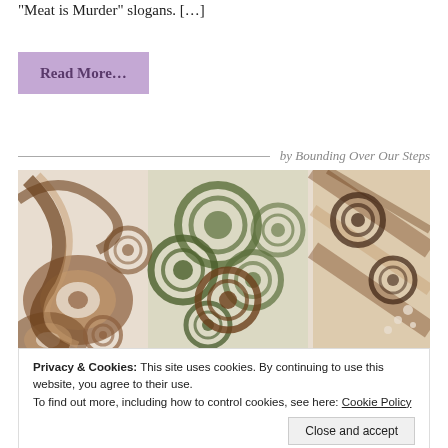“Meat is Murder” slogans. […]
Read More…
by Bounding Over Our Steps
[Figure (illustration): Decorative abstract artwork with swirling circles, floral and organic patterns in brown, green, and cream tones]
Privacy & Cookies: This site uses cookies. By continuing to use this website, you agree to their use.
To find out more, including how to control cookies, see here: Cookie Policy
Close and accept